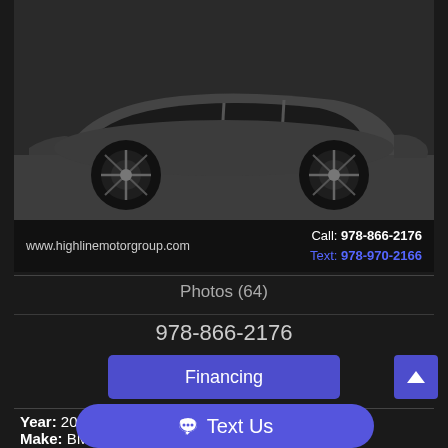[Figure (photo): Gray BMW car (side/rear quarter view) photographed in parking lot, displayed on dealer listing page]
www.highlinemotorgroup.com   Call: 978-866-2176   Text: 978-970-2166
Photos (64)
978-866-2176
Financing
Year: 2019
Make: BMW
Text Us